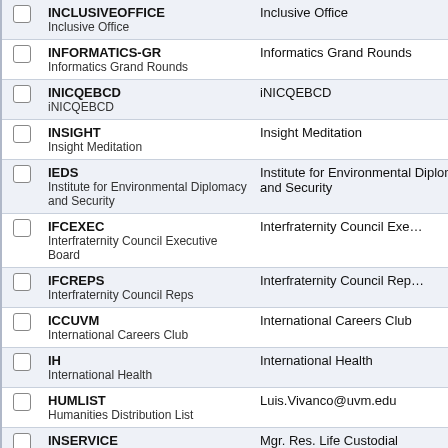|  | Code / Name | Description |
| --- | --- | --- |
| ☐ | INCLUSIVEOFFICE
Inclusive Office | Inclusive Office |
| ☐ | INFORMATICS-GR
Informatics Grand Rounds | Informatics Grand Rounds |
| ☐ | INICQEBCD
iNICQEBCD | iNICQEBCD |
| ☐ | INSIGHT
Insight Meditation | Insight Meditation |
| ☐ | IEDS
Institute for Environmental Diplomacy and Security | Institute for Environmental Diplomacy and Security |
| ☐ | IFCEXEC
Interfraternity Council Executive Board | Interfraternity Council Executive Board |
| ☐ | IFCREPS
Interfraternity Council Reps | Interfraternity Council Reps |
| ☐ | ICCUVM
International Careers Club | International Careers Club |
| ☐ | IH
International Health | International Health |
| ☐ | HUMLIST
Humanities Distribution List | Luis.Vivanco@uvm.edu |
| ☐ | INSERVICE
Mgr. Res. Life Custodial | Mgr. Res. Life Custodial |
| ☐ | IMPLEMENTATION2020... |  |